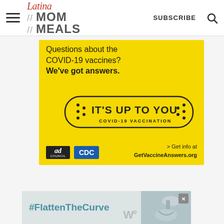Latina Mom Meals — SUBSCRIBE
[Figure (infographic): Yellow background CDC/Ad Council COVID-19 vaccine advertisement. Text: 'Questions about the COVID-19 vaccines? We've got answers.' with 'IT'S UP TO YOU COVID-19 VACCINATION' stamp graphic. Bottom: Ad Council and CDC logos, 'Get info at GetVaccineAnswers.org']
[Figure (infographic): Bottom banner advertisement with '#FlattenTheCurve' text in teal/blue, image of hands washing at a faucet, and a stylized 'W' watermark logo. Close (X) button in upper right.]